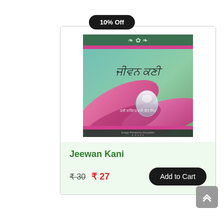10% Off
[Figure (illustration): Book cover of 'Jeewan Kani' showing Punjabi text title, pink flower petals with a water droplet, green/teal background, decorative border at top, and author name text at bottom.]
Jeewan Kani
₹30  ₹ 27  Add to Cart